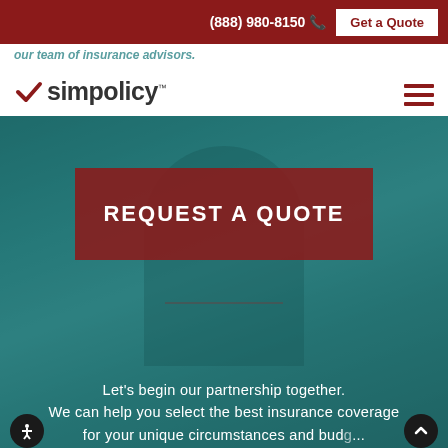(888) 980-8150  Get a Quote
[Figure (logo): simpolicy logo with red checkmark and text]
our team of insurance advisors.
REQUEST A QUOTE
Let's begin our partnership together. We can help you select the best insurance coverage for your unique circumstances and budget...
[Figure (photo): Background photo of smiling person with teal/green color overlay]